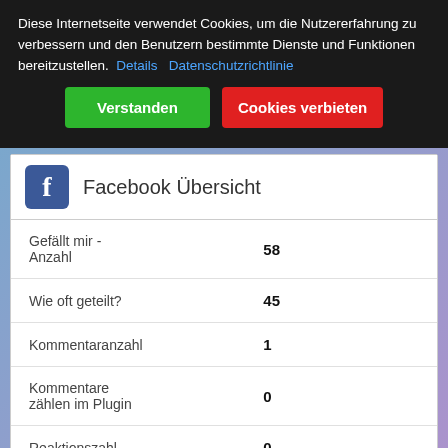Diese Internetseite verwendet Cookies, um die Nutzererfahrung zu verbessern und den Benutzern bestimmte Dienste und Funktionen bereitzustellen. Details Datenschutzrichtlinie
Verstanden | Cookies verbieten
Facebook Übersicht
|  |  |
| --- | --- |
| Gefällt mir - Anzahl | 58 |
| Wie oft geteilt? | 45 |
| Kommentaranzahl | 1 |
| Kommentare zählen im Plugin | 0 |
| Reaktionszahl | 0 |
| Gesamtsumme | 186 |